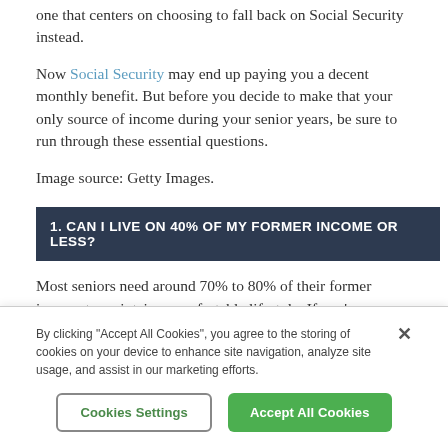one that centers on choosing to fall back on Social Security instead.
Now Social Security may end up paying you a decent monthly benefit. But before you decide to make that your only source of income during your senior years, be sure to run through these essential questions.
Image source: Getty Images.
1. CAN I LIVE ON 40% OF MY FORMER INCOME OR LESS?
Most seniors need around 70% to 80% of their former income to maintain a comfortable lifestyle. If you're
By clicking "Accept All Cookies", you agree to the storing of cookies on your device to enhance site navigation, analyze site usage, and assist in our marketing efforts.
Cookies Settings
Accept All Cookies